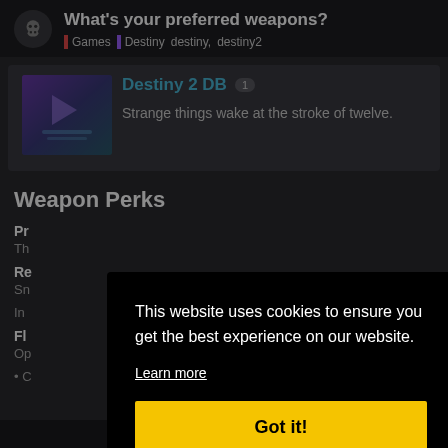What's your preferred weapons?
Games  Destiny  destiny,  destiny2
Destiny 2 DB  1
Strange things wake at the stroke of twelve.
Weapon Perks
Pr
Th
Re
Sn
In
Fl
Op
• C
This website uses cookies to ensure you get the best experience on our website.
Learn more
Got it!